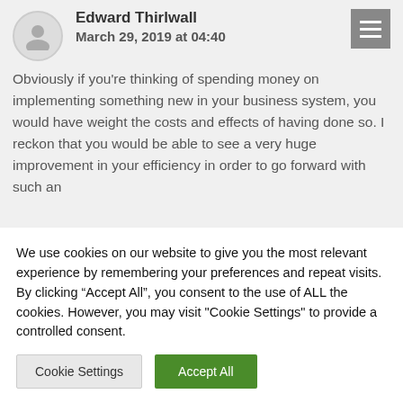Edward Thirlwall
March 29, 2019 at 04:40
Obviously if you're thinking of spending money on implementing something new in your business system, you would have weight the costs and effects of having done so. I reckon that you would be able to see a very huge improvement in your efficiency in order to go forward with such an
We use cookies on our website to give you the most relevant experience by remembering your preferences and repeat visits. By clicking “Accept All”, you consent to the use of ALL the cookies. However, you may visit "Cookie Settings" to provide a controlled consent.